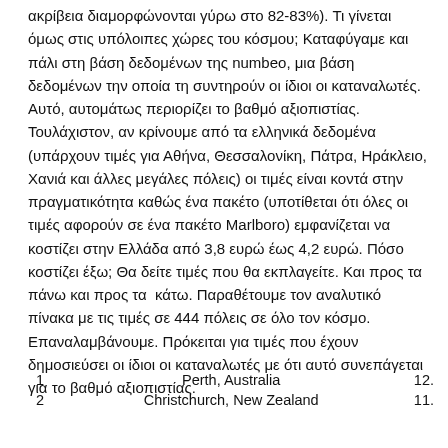ακρίβεια διαμορφώνονται γύρω στο 82-83%). Τι γίνεται όμως στις υπόλοιπες χώρες του κόσμου; Καταφύγαμε και πάλι στη βάση δεδομένων της numbeo, μια βάση δεδομένων την οποία τη συντηρούν οι ίδιοι οι καταναλωτές. Αυτό, αυτομάτως περιορίζει το βαθμό αξιοπιστίας. Τουλάχιστον, αν κρίνουμε από τα ελληνικά δεδομένα (υπάρχουν τιμές για Αθήνα, Θεσσαλονίκη, Πάτρα, Ηράκλειο, Χανιά και άλλες μεγάλες πόλεις) οι τιμές είναι κοντά στην πραγματικότητα καθώς ένα πακέτο (υποτίθεται ότι όλες οι τιμές αφορούν σε ένα πακέτο Marlboro) εμφανίζεται να κοστίζει στην Ελλάδα από 3,8 ευρώ έως 4,2 ευρώ. Πόσο κοστίζει έξω; Θα δείτε τιμές που θα εκπλαγείτε. Και προς τα πάνω και προς τα κάτω. Παραθέτουμε τον αναλυτικό πίνακα με τις τιμές σε 444 πόλεις σε όλο τον κόσμο. Επαναλαμβάνουμε. Πρόκειται για τιμές που έχουν δημοσιεύσει οι ίδιοι οι καταναλωτές με ότι αυτό συνεπάγεται για το βαθμό αξιοπιστίας.
| # | City | Price |
| --- | --- | --- |
| 1 | Perth, Australia | 12. |
| 2 | Christchurch, New Zealand | 11. |